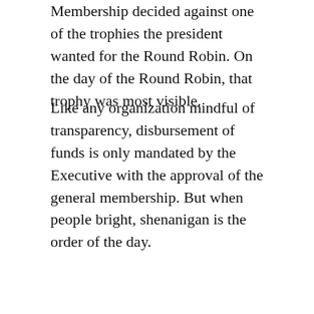Membership decided against one of the trophies the president wanted for the Round Robin. On the day of the Round Robin, that trophy was most visible.
Like any organization mindful of transparency, disbursement of funds is only mandated by the Executive with the approval of the general membership. But when people bright, shenanigan is the order of the day.
Six weeks after the fact, the members of Mafsoca and some of its executives found out that the club’s bank account was raped to pay down on the venue for the Round Robin.  While the president's John Hancock's was not on the cheque, one of the persons who signed it was without authority.
After the Round Robin, the treasurer presented a mickey mouse financial, and promised a more detailed and an audited report. Ten months later I had to call him up to